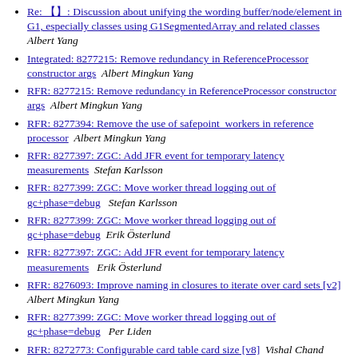Re: []: Discussion about unifying the wording buffer/node/element in G1, especially classes using G1SegmentedArray and related classes  Albert Yang
Integrated: 8277215: Remove redundancy in ReferenceProcessor constructor args  Albert Mingkun Yang
RFR: 8277215: Remove redundancy in ReferenceProcessor constructor args  Albert Mingkun Yang
RFR: 8277394: Remove the use of safepoint workers in reference processor  Albert Mingkun Yang
RFR: 8277397: ZGC: Add JFR event for temporary latency measurements  Stefan Karlsson
RFR: 8277399: ZGC: Move worker thread logging out of gc+phase=debug  Stefan Karlsson
RFR: 8277399: ZGC: Move worker thread logging out of gc+phase=debug  Erik Österlund
RFR: 8277397: ZGC: Add JFR event for temporary latency measurements  Erik Österlund
RFR: 8276093: Improve naming in closures to iterate over card sets [v2]  Albert Mingkun Yang
RFR: 8277399: ZGC: Move worker thread logging out of gc+phase=debug  Per Liden
RFR: 8272773: Configurable card table card size [v8]  Vishal Chand
RFR: 8277399: ZGC: Move worker thread logging out of gc+phase=debug [v2]  Stefan Karlsson
RFR: 8277399: ZGC: Move worker thread logging out of gc+phase=debug